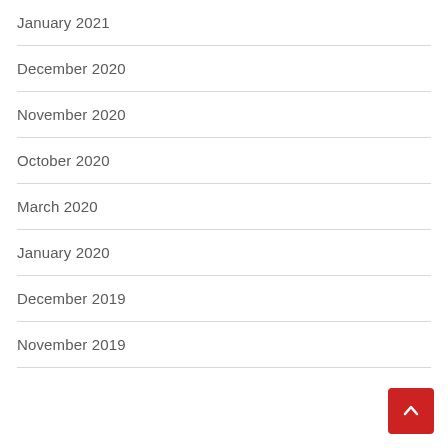January 2021
December 2020
November 2020
October 2020
March 2020
January 2020
December 2019
November 2019